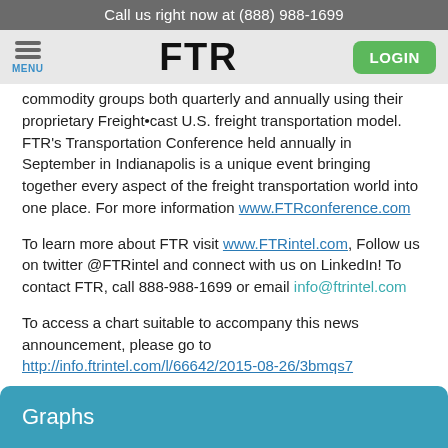Call us right now at (888) 988-1699
[Figure (screenshot): FTR website navigation bar with hamburger menu icon labeled MENU on the left, FTR logo in center, and green LOGIN button on the right]
commodity groups both quarterly and annually using their proprietary Freight•cast U.S. freight transportation model. FTR's Transportation Conference held annually in September in Indianapolis is a unique event bringing together every aspect of the freight transportation world into one place. For more information www.FTRconference.com
To learn more about FTR visit www.FTRintel.com, Follow us on twitter @FTRintel and connect with us on LinkedIn! To contact FTR, call 888-988-1699 or email info@ftrintel.com
To access a chart suitable to accompany this news announcement, please go to http://info.ftrintel.com/l/66642/2015-08-26/3bmqs7
Graphs